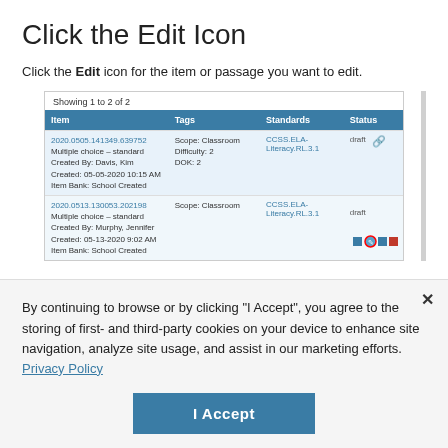Click the Edit Icon
Click the Edit icon for the item or passage you want to edit.
[Figure (screenshot): A table showing two assessment items with columns: Item, Tags, Standards, Status. Row 1: 2020.0505.141349.639752, Scope: Classroom / Difficulty: 2 / DOK: 2, CCSS.ELA-Literacy.RL.3.1, draft. Row 2: 2020.0513.130053.202198 with edit icon circled in red, Scope: Classroom, CCSS.ELA-Literacy.RL.3.1, draft.]
By continuing to browse or by clicking "I Accept", you agree to the storing of first- and third-party cookies on your device to enhance site navigation, analyze site usage, and assist in our marketing efforts. Privacy Policy
I Accept